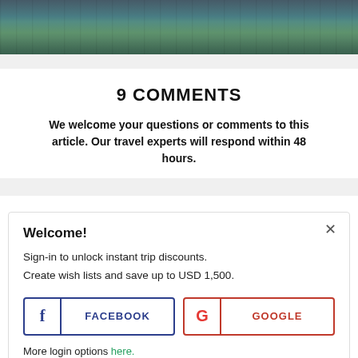[Figure (photo): Aerial or waterfront scenic photo showing a river/canal with bridges and waterside structures]
9 COMMENTS
We welcome your questions or comments to this article. Our travel experts will respond within 48 hours.
Welcome!
Sign-in to unlock instant trip discounts.
Create wish lists and save up to USD 1,500.
More login options here.